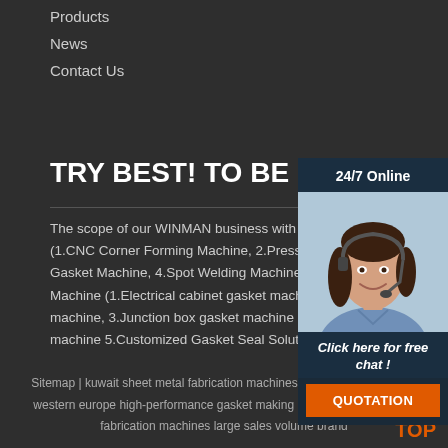Products
News
Contact Us
TRY BEST! TO BE NO.1
[Figure (photo): Customer service agent with headset, smiling, with '24/7 Online' header bar and 'Click here for free chat!' text and orange QUOTATION button]
The scope of our WINMAN business with I.Sheet Me (1.CNC Corner Forming Machine, 2.Press Brake Mac Gasket Machine, 4.Spot Welding Machine, etc.) II.PU Machine (1.Electrical cabinet gasket machine, 2.Air f machine, 3.Junction box gasket machine 4.PU gasket machine 5.Customized Gasket Seal Solution 6.Robot System, etc.
Sitemap | kuwait sheet metal fabrication machines direct manufacturers | western europe high-performance gasket making machine | sheet metal fabrication machines large sales volume brand